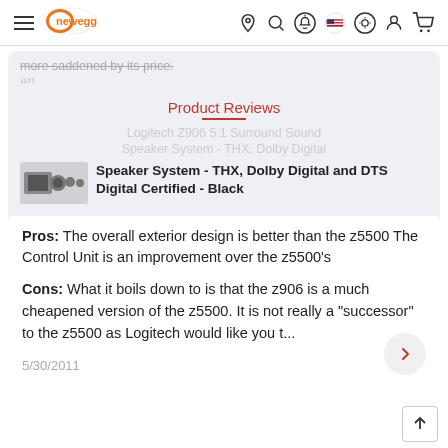Newegg navigation bar with hamburger menu, logo, and icons
more saddened by its price.
Product Reviews
Logitech Z906 5.1 Surround Sound Speaker System - THX, Dolby Digital and DTS Digital Certified - Black
Pros: The overall exterior design is better than the z5500 The Control Unit is an improvement over the z5500's
Cons: What it boils down to is that the z906 is a much cheapened version of the z5500. It is not really a "successor" to the z5500 as Logitech would like you t...
5/30/2011